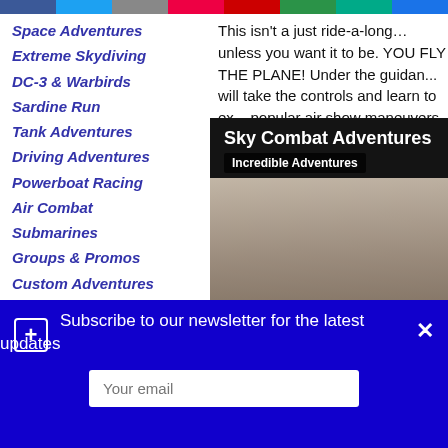Space Adventures
Extreme Skydiving
DC-3 & Warbirds
Sardine Run
Tank Adventures
Driving Adventures
Powerboat Racing
Air Combat
Submarines
Groups & Promos
Custom Adventures
Extreme Events
Pilots Only
Film Services
This isn't a just ride-a-long…unless you want it to be. YOU FLY THE PLANE! Under the guidan... will take the controls and learn to ex... popular air show maneuvers.
The Extra 330 is the highest perfor... and is capable of withstanding +/- 1...
[Figure (screenshot): Video thumbnail for Sky Combat Adventures with title overlay and Incredible Adventures badge, showing a pilot's face in the background]
Subscribe to our newsletter for the latest updates
Your email